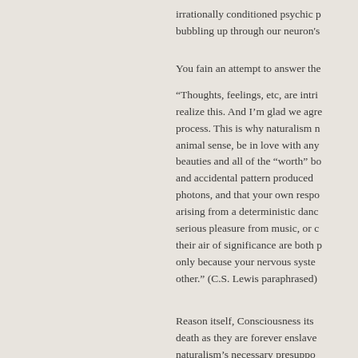irrationally conditioned psychic p... bubbling up through our neuron's...
You fain an attempt to answer the...
“Thoughts, feelings, etc, are intri... realize this. And I’m glad we agre... process. This is why naturalism n... animal sense, be in love with any... beauties and all of the “worth” bo... and accidental pattern produced ... photons, and that your own respo... arising from a deterministic danc... serious pleasure from music, or c... their air of significance are both p... only because your nervous syste... other.” (C.S. Lewis paraphrased)
Reason itself, Consciousness its... death as they are forever enslave... naturalism’s necessary presuppo...